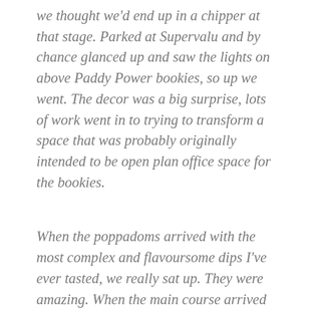we thought we'd end up in a chipper at that stage. Parked at Supervalu and by chance glanced up and saw the lights on above Paddy Power bookies, so up we went. The decor was a big surprise, lots of work went in to trying to transform a space that was probably originally intended to be open plan office space for the bookies.
When the poppadoms arrived with the most complex and flavoursome dips I've ever tasted, we really sat up. They were amazing. When the main course arrived it exceeded our raised expectations. The lamb was cooked to absolute perfection. Still with its lamby taste and tender but not mushy. The Jalfrezi sauce tasted like no